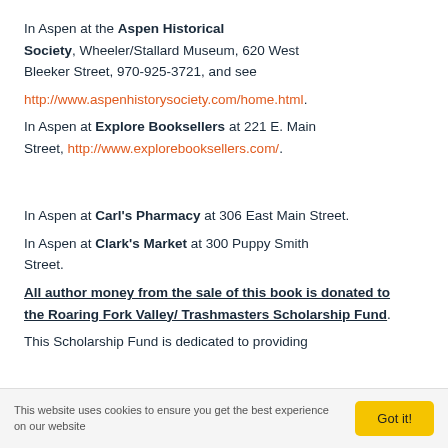In Aspen at the Aspen Historical Society, Wheeler/Stallard Museum, 620 West Bleeker Street, 970-925-3721, and see http://www.aspenhistorysociety.com/home.html.
In Aspen at Explore Booksellers at 221 E. Main Street, http://www.explorebooksellers.com/.
In Aspen at Carl's Pharmacy at 306 East Main Street.
In Aspen at Clark's Market at 300 Puppy Smith Street.
All author money from the sale of this book is donated to the Roaring Fork Valley/ Trashmasters Scholarship Fund.
This Scholarship Fund is dedicated to providing
This website uses cookies to ensure you get the best experience on our website